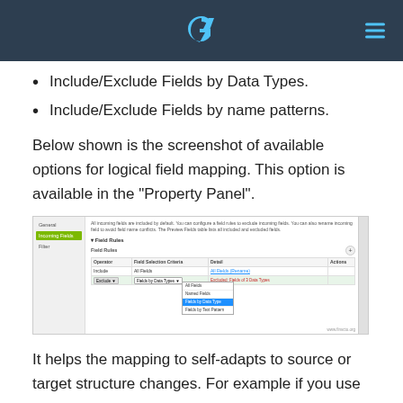Include/Exclude Fields by Data Types.
Include/Exclude Fields by name patterns.
Below shown is the screenshot of available options for logical field mapping. This option is available in the "Property Panel".
[Figure (screenshot): Screenshot of the Property Panel showing Field Rules configuration with a dropdown menu open displaying options: All Fields, Named Fields, Fields by Data Type (highlighted in blue), Fields by Text Pattern. The table shows Operator and Field Selection Criteria columns with an Exclude row highlighted in green.]
It helps the mapping to self-adapts to source or target structure changes. For example if you use